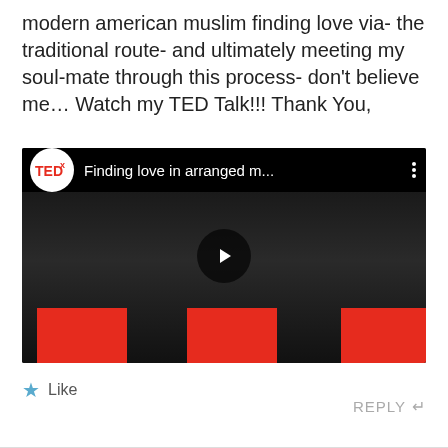modern american muslim finding love via- the traditional route- and ultimately meeting my soul-mate through this process- don't believe me… Watch my TED Talk!!! Thank You,
[Figure (screenshot): YouTube video thumbnail showing a TEDx talk titled 'Finding love in arranged m...' with a man in a dark vest, white shirt and tie standing on a TEDx stage with red letter blocks in the background. A play button is visible in the center.]
★ Like
REPLY ↵